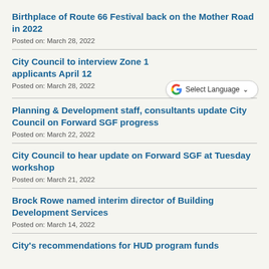Birthplace of Route 66 Festival back on the Mother Road in 2022
Posted on: March 28, 2022
City Council to interview Zone 1 applicants April 12
Posted on: March 28, 2022
[Figure (other): Google Translate widget with 'Select Language' dropdown]
Planning & Development staff, consultants update City Council on Forward SGF progress
Posted on: March 22, 2022
City Council to hear update on Forward SGF at Tuesday workshop
Posted on: March 21, 2022
Brock Rowe named interim director of Building Development Services
Posted on: March 14, 2022
City's recommendations for HUD program funds